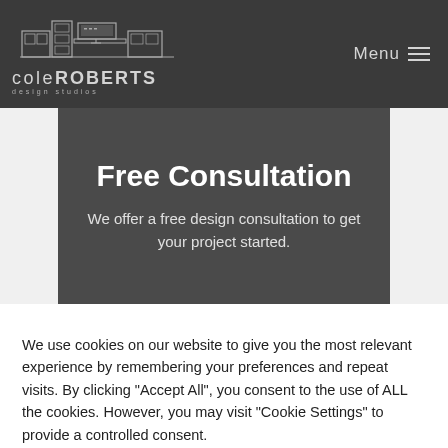Cole Roberts Design Studios — Menu
Free Consultation
We offer a free design consultation to get your project started.
We use cookies on our website to give you the most relevant experience by remembering your preferences and repeat visits. By clicking "Accept All", you consent to the use of ALL the cookies. However, you may visit "Cookie Settings" to provide a controlled consent.
Cookie Settings | Accept All